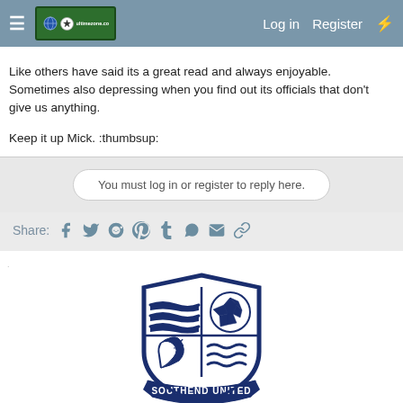≡  [logo] Log in  Register  ⚡
Like others have said its a great read and always enjoyable. Sometimes also depressing when you find out its officials that don't give us anything.

Keep it up Mick. :thumbsup:
You must log in or register to reply here.
Share:  [Facebook] [Twitter] [Reddit] [Pinterest] [Tumblr] [WhatsApp] [Email] [Link]
[Figure (logo): Southend United FC crest/badge in navy blue showing shield divided into four quarters with three horizontal wavy banners (top-left), a football (top-right), a shrimp/prawn (bottom-left), and waves (bottom-right), with a banner reading SOUTHEND UNITED below]